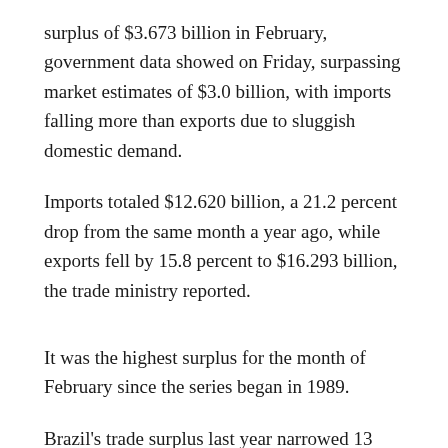surplus of $3.673 billion in February, government data showed on Friday, surpassing market estimates of $3.0 billion, with imports falling more than exports due to sluggish domestic demand.
Imports totaled $12.620 billion, a 21.2 percent drop from the same month a year ago, while exports fell by 15.8 percent to $16.293 billion, the trade ministry reported.
It was the highest surplus for the month of February since the series began in 1989.
Brazil's trade surplus last year narrowed 13 percent to